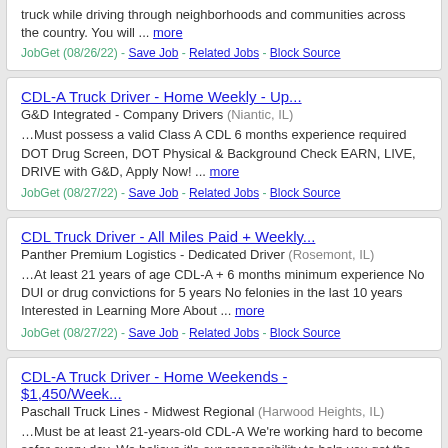truck while driving through neighborhoods and communities across the country. You will ... more
JobGet (08/26/22) - Save Job - Related Jobs - Block Source
CDL-A Truck Driver - Home Weekly - Up...
G&D Integrated - Company Drivers (Niantic, IL)
...Must possess a valid Class A CDL 6 months experience required DOT Drug Screen, DOT Physical & Background Check EARN, LIVE, DRIVE with G&D, Apply Now! ... more
JobGet (08/27/22) - Save Job - Related Jobs - Block Source
CDL Truck Driver - All Miles Paid + Weekly...
Panther Premium Logistics - Dedicated Driver (Rosemont, IL)
...At least 21 years of age CDL-A + 6 months minimum experience No DUI or drug convictions for 5 years No felonies in the last 10 years Interested in Learning More About ... more
JobGet (08/27/22) - Save Job - Related Jobs - Block Source
CDL-A Truck Driver - Home Weekends - $1,450/Week...
Paschall Truck Lines - Midwest Regional (Harwood Heights, IL)
...Must be at least 21-years-old CDL-A We're working hard to become safer every day. We believe it's our responsibility to help you get the most from your driving ... more